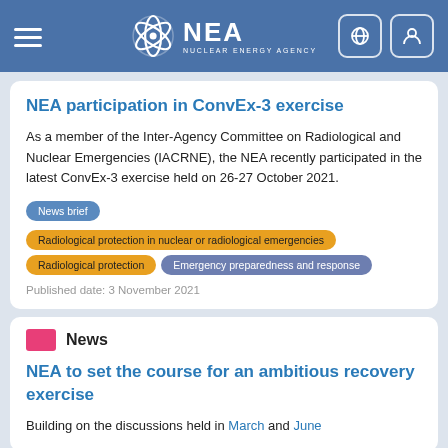NEA NUCLEAR ENERGY AGENCY
NEA participation in ConvEx-3 exercise
As a member of the Inter-Agency Committee on Radiological and Nuclear Emergencies (IACRNE), the NEA recently participated in the latest ConvEx-3 exercise held on 26-27 October 2021.
News brief
Radiological protection in nuclear or radiological emergencies
Radiological protection
Emergency preparedness and response
Published date: 3 November 2021
News
NEA to set the course for an ambitious recovery exercise
Building on the discussions held in March and June